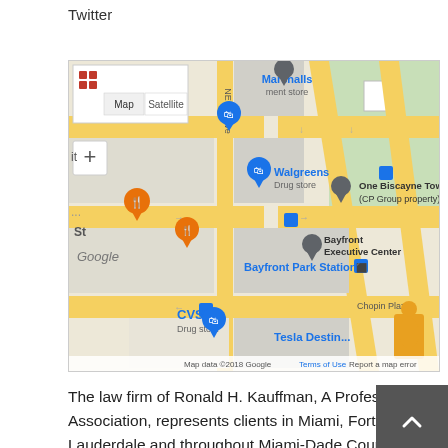Twitter
[Figure (map): Google Maps screenshot showing downtown Miami area near One Biscayne Tower, Bayfront Executive Center, Bayfront Park Station, Walgreens, CVS, Marshalls, Tesla Destination, Chopin Plaza. Map data ©2018 Google.]
The law firm of Ronald H. Kauffman, A Professional Association, represents clients in Miami, Fort Lauderdale and throughout Miami-Dade County, Broward County and